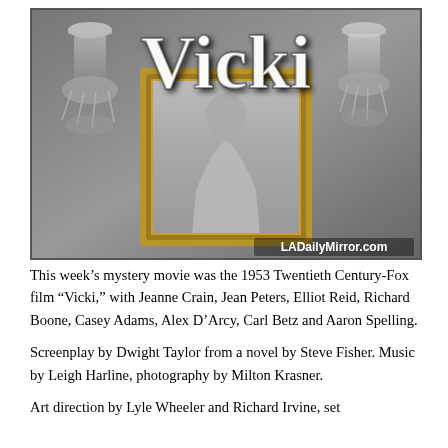[Figure (photo): Black and white film still from 'Vicki' (1953). The large title 'Vicki' appears in bold white serif letters across the top. A woman in an ornate gold-framed portrait painting is centered, with crystal chandeliers on either side. Watermark 'LADailyMirror.com' in lower right.]
This week's mystery movie was the 1953 Twentieth Century-Fox film “Vicki,” with Jeanne Crain, Jean Peters, Elliot Reid, Richard Boone, Casey Adams, Alex D’Arcy, Carl Betz and Aaron Spelling.
Screenplay by Dwight Taylor from a novel by Steve Fisher. Music by Leigh Harline, photography by Milton Krasner.
Art direction by Lyle Wheeler and Richard Irvine, set